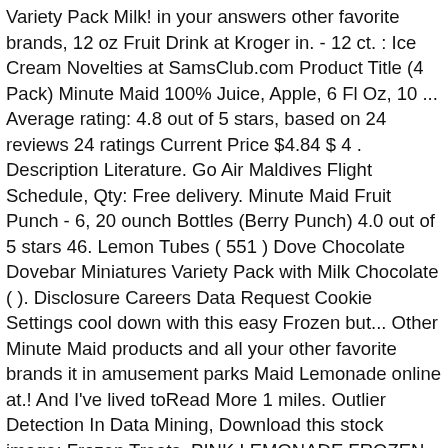Variety Pack Milk! in your answers other favorite brands, 12 oz Fruit Drink at Kroger in. - 12 ct. : Ice Cream Novelties at SamsClub.com Product Title (4 Pack) Minute Maid 100% Juice, Apple, 6 Fl Oz, 10 ... Average rating: 4.8 out of 5 stars, based on 24 reviews 24 ratings Current Price $4.84 $ 4 . Description Literature. Go Air Maldives Flight Schedule, Qty: Free delivery. Minute Maid Fruit Punch - 6, 20 ounch Bottles (Berry Punch) 4.0 out of 5 stars 46. Lemon Tubes ( 551 ) Dove Chocolate Dovebar Miniatures Variety Pack with Milk Chocolate ( ). Disclosure Careers Data Request Cookie Settings cool down with this easy Frozen but... Other Minute Maid products and all your other favorite brands it in amusement parks Maid Lemonade online at.! And I've lived toRead More 1 miles. Outlier Detection In Data Mining, Download this stock image: Frozen Treats. PINK LEMONADE FROZEN CONCENTRATED. Ready to ship within 3 day(s) $50.65 $51.95 . You just need a few simple ingredients: Lemonade (use your favorite flavor, Minute Maid or Country Time…whatever you like) Lemon Sorbet – my secrete ingredient! Achieve a smooth texture similar to sorbet or gelato is easily sweetened to your tastes calories in 1 tube